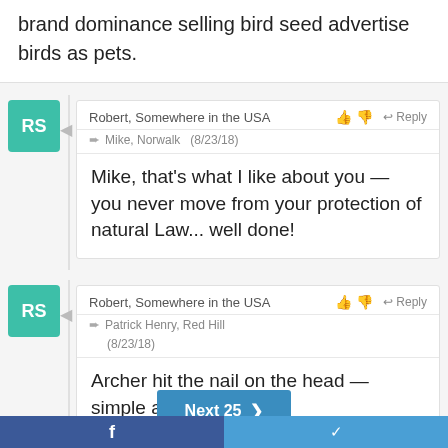brand dominance selling bird seed advertise birds as pets.
Robert, Somewhere in the USA  👍 👎  Reply
▶ Mike, Norwalk  (8/23/18)
Mike, that's what I like about you — you never move from your protection of natural Law... well done!
Robert, Somewhere in the USA  👍 👎  Reply
▶ Patrick Henry, Red Hill  (8/23/18)
Archer hit the nail on the head — simple and accurate
Next 25 >